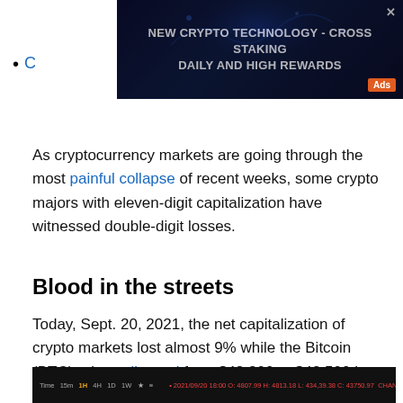[Figure (other): Advertisement banner: dark blue/navy background with glowing blue digital elements. Text reads: NEW CRYPTO TECHNOLOGY - CROSS STAKING DAILY AND HIGH REWARDS. Orange 'Ads' label in bottom right. Close X button top right.]
C...
As cryptocurrency markets are going through the most painful collapse of recent weeks, some crypto majors with eleven-digit capitalization have witnessed double-digit losses.
Blood in the streets
Today, Sept. 20, 2021, the net capitalization of crypto markets lost almost 9% while the Bitcoin (BTC) price collapsed from $48,800 to $42,500 in six hours.
[Figure (screenshot): Bottom strip of a cryptocurrency trading chart interface showing time frames (1m, 15m, 1H, 4H, 1D, 1W), price data in red/green, and chart type options (Original, TradingView, Depth) on dark background.]